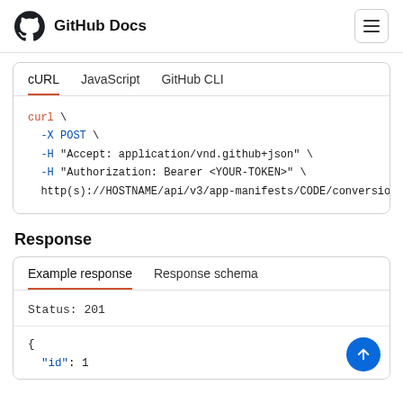GitHub Docs
cURL   JavaScript   GitHub CLI
curl \
  -X POST \
  -H "Accept: application/vnd.github+json" \
  -H "Authorization: Bearer <YOUR-TOKEN>" \
  http(s)://HOSTNAME/api/v3/app-manifests/CODE/conversions
Response
Example response   Response schema
Status: 201
{
  "id": 1